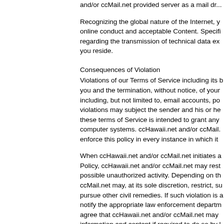and/or ccMail.net provided server as a mail dr...
Recognizing the global nature of the Internet, y... online conduct and acceptable Content. Specifi... regarding the transmission of technical data ex... you reside.
Consequences of Violation
Violations of our Terms of Service including its b... you and the termination, without notice, of your... including, but not limited to, email accounts, po... violations may subject the sender and his or he... these terms of Service is intended to grant any... computer systems. ccHawaii.net and/or ccMail... enforce this policy in every instance in which it
When ccHawaii.net and/or ccMail.net initiates a... Policy, ccHawaii.net and/or ccMail.net may rest... possible unauthorized activity. Depending on th... ccMail.net may, at its sole discretion, restrict, su... pursue other civil remedies. If such violation is a... notify the appropriate law enforcement departm... agree that ccHawaii.net and/or ccMail.net may... information and content if required to do so by l... preservation or disclosure is reasonably necess... terms herein; (c) respond to claims that any co... your requests for customer service; or (e) prote... ccMail.net , its users and the public. ccHawaii.n... for any outages incurred through service disabl...